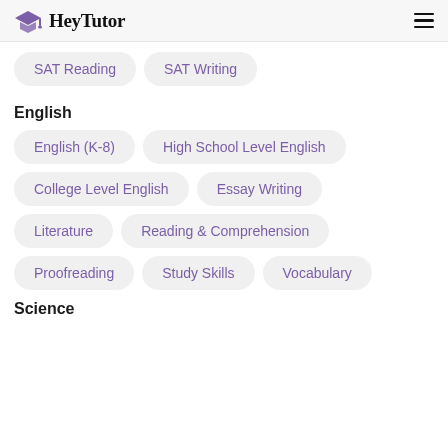HeyTutor
SAT Reading
SAT Writing
English
English (K-8)
High School Level English
College Level English
Essay Writing
Literature
Reading & Comprehension
Proofreading
Study Skills
Vocabulary
Science